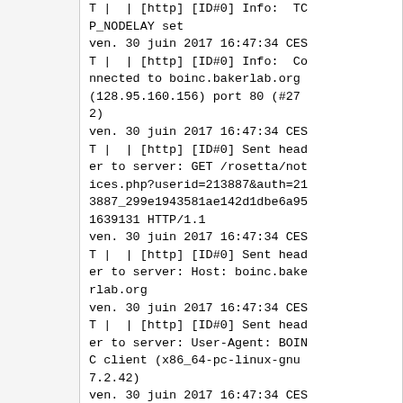T |  | [http] [ID#0] Info:  TCP_NODELAY set
ven. 30 juin 2017 16:47:34 CEST |  | [http] [ID#0] Info:  Connected to boinc.bakerlab.org (128.95.160.156) port 80 (#272)
ven. 30 juin 2017 16:47:34 CEST |  | [http] [ID#0] Sent header to server: GET /rosetta/notices.php?userid=213887&auth=213887_299e1943581ae142d1dbe6a951639131 HTTP/1.1
ven. 30 juin 2017 16:47:34 CEST |  | [http] [ID#0] Sent header to server: Host: boinc.bakerlab.org
ven. 30 juin 2017 16:47:34 CEST |  | [http] [ID#0] Sent header to server: User-Agent: BOINC client (x86_64-pc-linux-gnu 7.2.42)
ven. 30 juin 2017 16:47:34 CEST |  | [http] [ID#0] Sent head